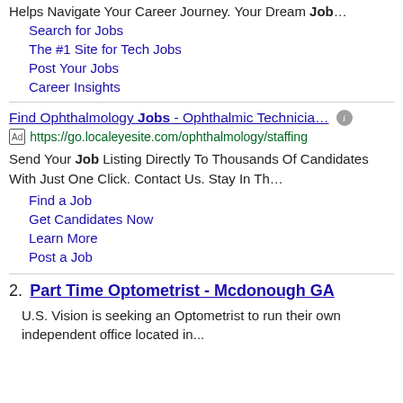Helps Navigate Your Career Journey. Your Dream Job…
Search for Jobs
The #1 Site for Tech Jobs
Post Your Jobs
Career Insights
Find Ophthalmology Jobs - Ophthalmic Technicia…
[Ad] https://go.localeyesite.com/ophthalmology/staffing
Send Your Job Listing Directly To Thousands Of Candidates With Just One Click. Contact Us. Stay In Th…
Find a Job
Get Candidates Now
Learn More
Post a Job
2. Part Time Optometrist - Mcdonough GA
U.S. Vision is seeking an Optometrist to run their own independent office located in...